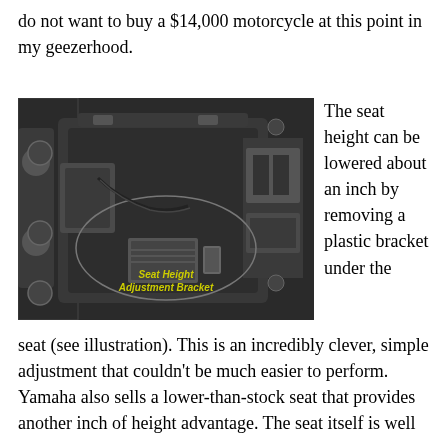do not want to buy a $14,000 motorcycle at this point in my geezerhood.
[Figure (photo): Close-up photo of motorcycle frame interior showing the Seat Height Adjustment Bracket, labeled in yellow text. The bracket is a plastic component visible inside the seat cavity area, surrounded by mechanical parts, wiring, and frame components.]
The seat height can be lowered about an inch by removing a plastic bracket under the seat (see illustration). This is an incredibly clever, simple adjustment that couldn't be much easier to perform. Yamaha also sells a lower-than-stock seat that provides another inch of height advantage. The seat itself is well